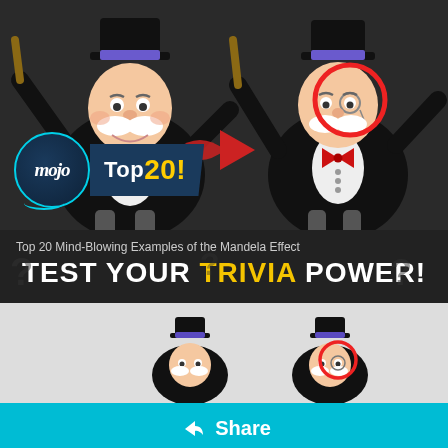[Figure (illustration): Two Monopoly Man (Rich Uncle Pennybags) figures side by side. Left figure without monocle, right figure with a red circle highlighting monocle. A red arrow points from left to right. WatchMojo 'mojo Top 20!' logo overlay in bottom left.]
Top 20 Mind-Blowing Examples of the Mandela Effect
TEST YOUR TRIVIA POWER!
[Figure (illustration): Smaller version of the two Monopoly Man figures comparison, left without monocle, right with red circle highlighting monocle area.]
Share